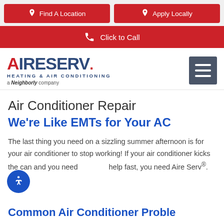Find A Location | Apply Locally
Click to Call
[Figure (logo): Aire Serv Heating & Air Conditioning logo — a Neighborly company, with red A and blue text, plus hamburger menu icon]
Air Conditioner Repair
We're Like EMTs for Your AC
The last thing you need on a sizzling summer afternoon is for your air conditioner to stop working! If your air conditioner kicks the can and you need help fast, you need Aire Serv®.
Common Air Conditioner Problems